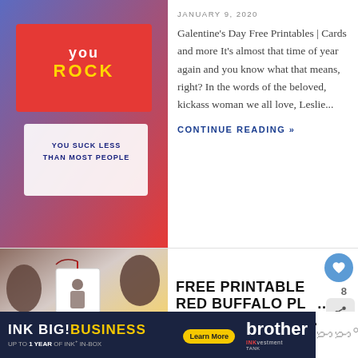[Figure (photo): Galentine's Day printable cards image - colorful cards with text YOU ROCK and YOU SUCK LESS THAN MOST PEOPLE]
JANUARY 9, 2020
Galentine's Day Free Printables | Cards and more It's almost that time of year again and you know what that means, right? In the words of the beloved, kickass woman we all love, Leslie...
CONTINUE READING »
[Figure (photo): Christmas gift tags with red buffalo plaid and pine cones on a rustic background]
FREE PRINTABLE RED BUFFALO PLA... CHRISTMAS GIFT...
[Figure (other): INK BIG! BUSINESS brother INKvestment TANK ad banner - UP TO 1 YEAR OF INK+ IN-BOX Learn More]